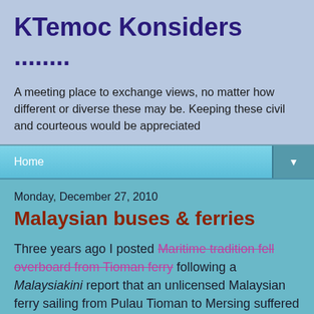KTemoc Konsiders ........
A meeting place to exchange views, no matter how different or diverse these may be. Keeping these civil and courteous would be appreciated
Home
Monday, December 27, 2010
Malaysian buses & ferries
Three years ago I posted Maritime tradition fell overboard from Tioman ferry following a Malaysiakini report that an unlicensed Malaysian ferry sailing from Pulau Tioman to Mersing suffered a fire breaking out on board the vessel yesterday. The incident left four dead and four